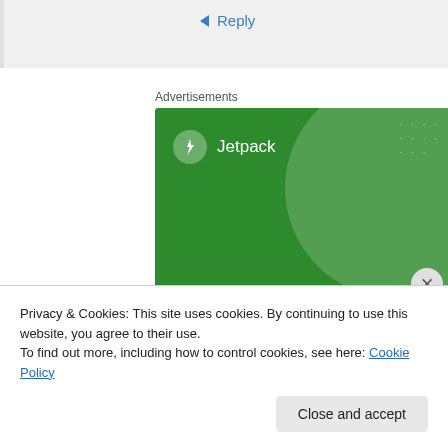Reply
Advertisements
[Figure (advertisement): Jetpack plugin advertisement banner with green background. Shows Jetpack logo (bolt icon in circle) and text: The best real-time WordPress backup plugin]
Privacy & Cookies: This site uses cookies. By continuing to use this website, you agree to their use.
To find out more, including how to control cookies, see here: Cookie Policy
Close and accept